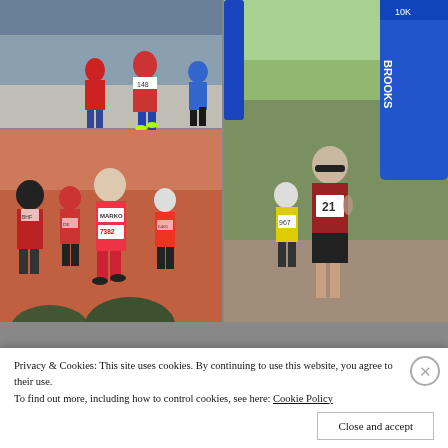[Figure (photo): Grid of running race photographs: top-left shows runners on a road race with bib numbers including 148; top-right shows a bald runner in red vest bib number 21 passing under a blue BROOKS 10K arch in sunny conditions with runner 967 behind; bottom-left shows a crowded marathon start with a runner in pink vest bib 7382 labelled MARKO at the London Marathon; bottom strip shows two partial racing photos.]
Privacy & Cookies: This site uses cookies. By continuing to use this website, you agree to their use.
To find out more, including how to control cookies, see here: Cookie Policy
Close and accept